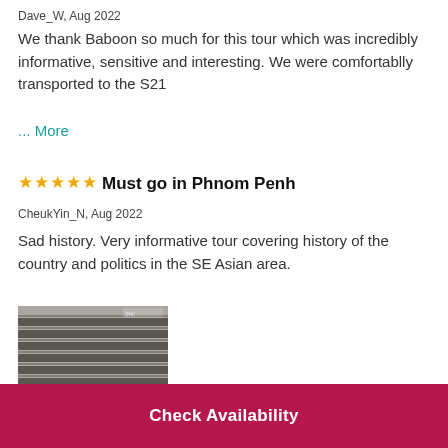Dave_W, Aug 2022
We thank Baboon so much for this tour which was incredibly informative, sensitive and interesting. We were comfortablly transported to the S21
... More
Must go in Phnom Penh
CheukYin_N, Aug 2022
Sad history. Very informative tour covering history of the country and politics in the SE Asian area.
[Figure (photo): Photo of a staircase or shelves with rows of items, taken from below looking up]
Check Availability